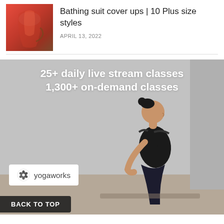[Figure (photo): Thumbnail image of a bathing suit cover up in red/orange gradient fabric]
Bathing suit cover ups | 10 Plus size styles
APRIL 13, 2022
[Figure (photo): Advertisement banner for YogaWorks showing a woman in yoga pose with text '25+ daily live stream classes, 1,300+ on-demand classes' and YogaWorks logo. A 'BACK TO TOP' button overlay is at the bottom left.]